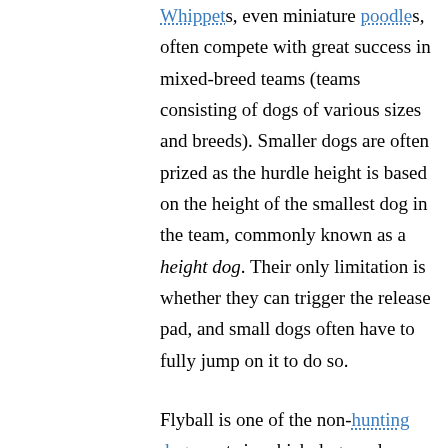Whippets, even miniature poodles, often compete with great success in mixed-breed teams (teams consisting of dogs of various sizes and breeds). Smaller dogs are often prized as the hurdle height is based on the height of the smallest dog in the team, commonly known as a height dog. Their only limitation is whether they can trigger the release pad, and small dogs often have to fully jump on it to do so.
Flyball is one of the non-hunting dog sports in which dogs and people work as a team. Many casual pet owners use their flyball time more as a way to relax and socialize with other dog owners than as a competition, and many champion flyball dogs are essentially pet dogs with a hobby, rather than dedicated sporting or working dogs.